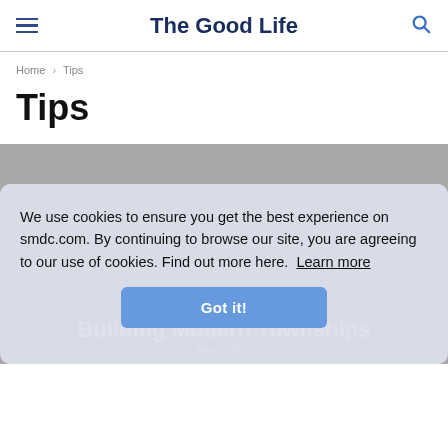The Good Life
Home › Tips
Tips
We use cookies to ensure you get the best experience on smdc.com. By continuing to browse our site, you are agreeing to our use of cookies. Find out more here. Learn more
Got it!
UNCATEGORIZED
Building Modern Townships
May 6, 2022